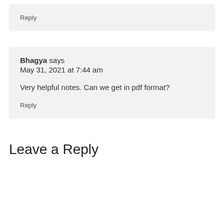Reply
Bhagya says
May 31, 2021 at 7:44 am

Very helpful notes. Can we get in pdf format?
Reply
Leave a Reply